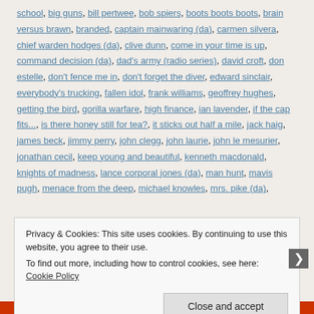school, big guns, bill pertwee, bob spiers, boots boots boots, brain versus brawn, branded, captain mainwaring (da), carmen silvera, chief warden hodges (da), clive dunn, come in your time is up, command decision (da), dad's army (radio series), david croft, don estelle, don't fence me in, don't forget the diver, edward sinclair, everybody's trucking, fallen idol, frank williams, geoffrey hughes, getting the bird, gorilla warfare, high finance, ian lavender, if the cap fits..., is there honey still for tea?, it sticks out half a mile, jack haig, james beck, jimmy perry, john clegg, john laurie, john le mesurier, jonathan cecil, keep young and beautiful, kenneth macdonald, knights of madness, lance corporal jones (da), man hunt, mavis pugh, menace from the deep, michael knowles, mrs. pike (da),
Privacy & Cookies: This site uses cookies. By continuing to use this website, you agree to their use. To find out more, including how to control cookies, see here: Cookie Policy